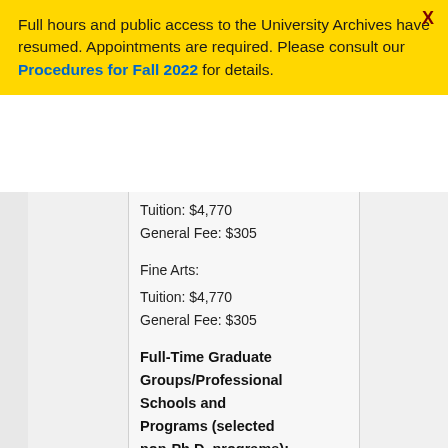Full hours and public access to the University Archives have resumed. Appointments are required. Please consult our Procedures for Fall 2022 for details.
Tuition: $4,770
General Fee: $305
Fine Arts:
Tuition: $4,770
General Fee: $305
Full-Time Graduate Groups/Professional Schools and Programs (selected non-Ph.D. programs):
Dental Medicine:
Tuition: $5,785